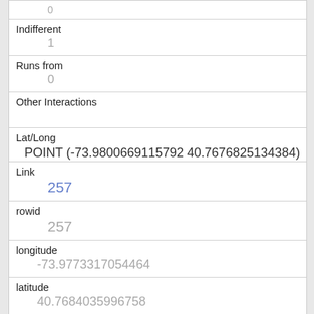|  | 0 |
| Indifferent | 1 |
| Runs from | 0 |
| Other Interactions |  |
| Lat/Long | POINT (-73.9800669115792 40.7676825134384) |
| Link | 257 |
| rowid | 257 |
| longitude | -73.9773317054464 |
| latitude | 40.7684035996758 |
| Unique Squirrel ID | 3D-AM-1006-03 |
| Hectare |  |